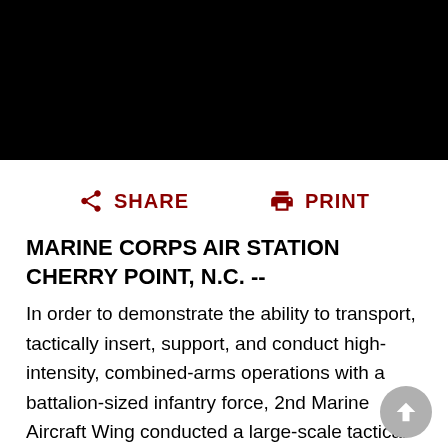[Figure (photo): Black header bar at top of page (image content not visible)]
SHARE   PRINT
MARINE CORPS AIR STATION CHERRY POINT, N.C. --
In order to demonstrate the ability to transport, tactically insert, support, and conduct high-intensity, combined-arms operations with a battalion-sized infantry force, 2nd Marine Aircraft Wing conducted a large-scale tactical exercise in conjunction with 3rd Battalion, 6th Marine Regiment, 2nd Marine Division at Fort Stewart,